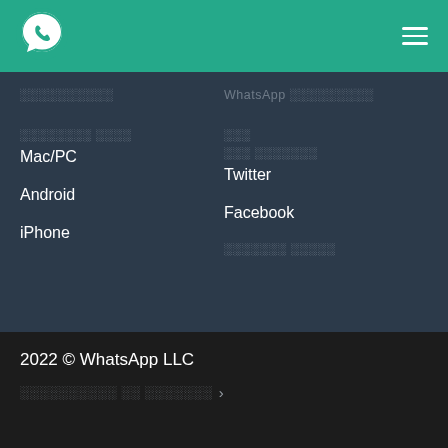[Figure (logo): WhatsApp logo — green speech bubble with white phone icon]
░░░░░░░░░░   WhatsApp ░░░░░░░░░
░░░░░░░░ ░░░░
Mac/PC
Android
iPhone
░░░   ░░░ ░░░░░░░
Twitter
Facebook
░░░░░░░ ░░░░░
2022 © WhatsApp LLC
░░░░░░░░░░ ░░ ░░░░░░░ >